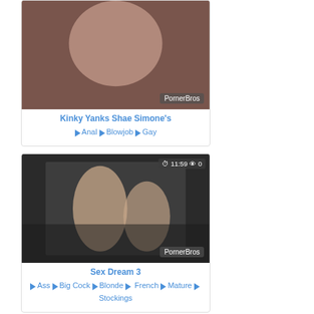[Figure (screenshot): Thumbnail image for video: Kinky Yanks Shae Simone's, with PornerBros watermark]
Kinky Yanks Shae Simone's
Anal  Blowjob  Gay
[Figure (screenshot): Thumbnail image for video: Sex Dream 3, duration 11:59, 0 views, with PornerBros watermark]
Sex Dream 3
Ass  Big Cock  Blonde  French  Mature  Stockings
[Figure (screenshot): Thumbnail image for a video, duration 06:59, 2 views]